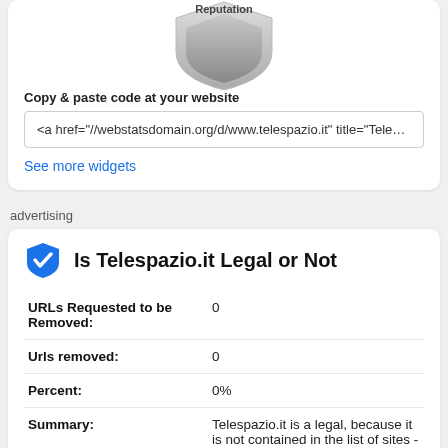[Figure (illustration): A shield/badge graphic with 'Reputation' text, partially visible at the top]
Copy & paste code at your website
<a href="//webstatsdomain.org/d/www.telespazio.it" title="Telespazio.it webs
See more widgets
advertising
Is Telespazio.it Legal or Not
| URLs Requested to be Removed: | 0 |
| Urls removed: | 0 |
| Percent: | 0% |
| Summary: | Telespazio.it is a legal, because it is not contained in the list of sites - https://transpa... |